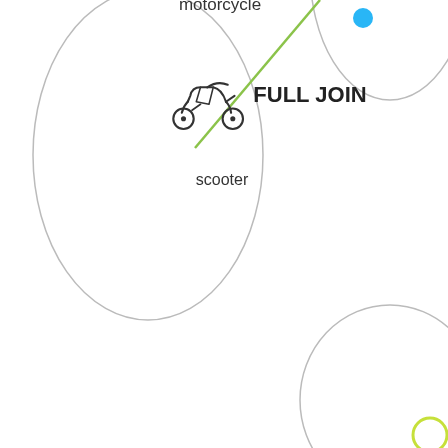[Figure (infographic): Diagram illustrating a FULL JOIN concept using Venn-diagram-like overlapping ellipses. Left ellipse contains 'motorcycle' label at top and a scooter icon with label 'scooter' below. A green diagonal line crosses the intersection. 'FULL JOIN' text appears in bold in the center-right area. Top-right shows a partial ellipse with a blue dot. Bottom-right shows a partial ellipse with a yellow-green circle element.]